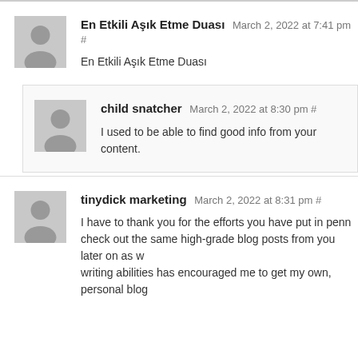En Etkili Aşık Etme Duası March 2, 2022 at 7:41 pm # En Etkili Aşık Etme Duası
child snatcher March 2, 2022 at 8:30 pm # I used to be able to find good info from your content.
tinydick marketing March 2, 2022 at 8:31 pm # I have to thank you for the efforts you have put in penn... check out the same high-grade blog posts from you later on as w... writing abilities has encouraged me to get my own, personal blog...